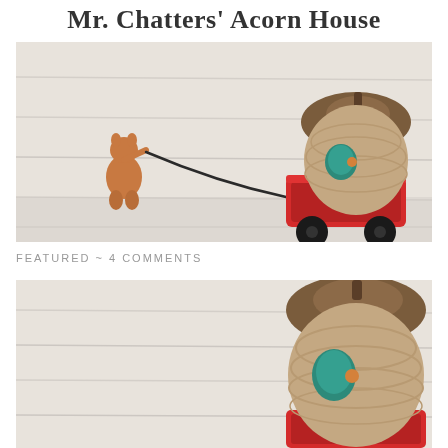Mr. Chatters' Acorn House
[Figure (photo): Crochet amigurumi scene: a small orange squirrel figure on the left pulling a black string attached to a red wagon carrying a large crocheted acorn house with teal door and brown cap, on a white wooden surface]
FEATURED ~ 4 COMMENTS
[Figure (photo): Crochet amigurumi acorn house close-up, showing the brown crocheted acorn cap on top and beige/brown body with teal crocheted door, sitting in a red crocheted wagon, on a white wooden surface]